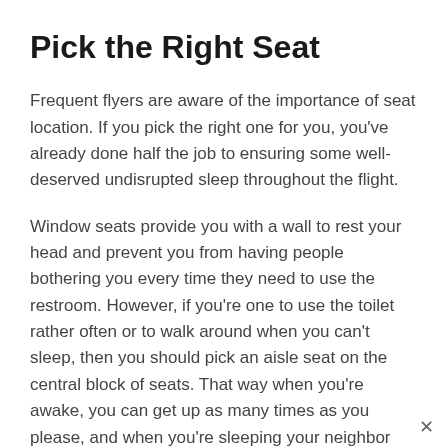Pick the Right Seat
Frequent flyers are aware of the importance of seat location. If you pick the right one for you, you've already done half the job to ensuring some well-deserved undisrupted sleep throughout the flight.
Window seats provide you with a wall to rest your head and prevent you from having people bothering you every time they need to use the restroom. However, if you're one to use the toilet rather often or to walk around when you can't sleep, then you should pick an aisle seat on the central block of seats. That way when you're awake, you can get up as many times as you please, and when you're sleeping your neighbor can simply turn to the other